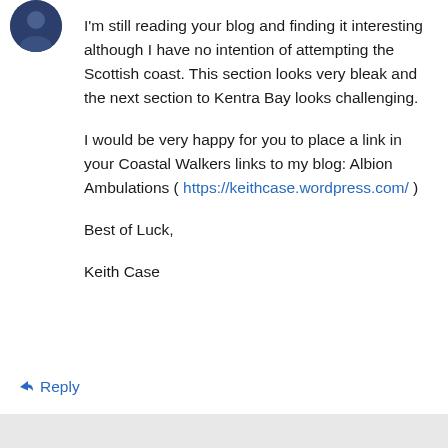[Figure (photo): Small circular avatar image of a person, dark blue/navy colored]
I'm still reading your blog and finding it interesting although I have no intention of attempting the Scottish coast. This section looks very bleak and the next section to Kentra Bay looks challenging.
I would be very happy for you to place a link in your Coastal Walkers links to my blog: Albion Ambulations ( https://keithcase.wordpress.com/ )
Best of Luck,
Keith Case
↳ Reply